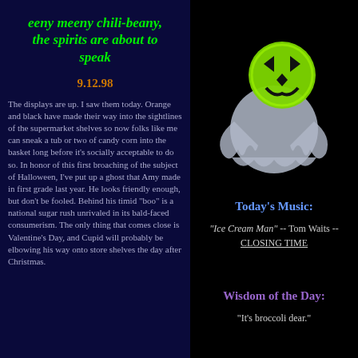eeny meeny chili-beany, the spirits are about to speak
9.12.98
The displays are up. I saw them today. Orange and black have made their way into the sightlines of the supermarket shelves so now folks like me can sneak a tub or two of candy corn into the basket long before it's socially acceptable to do so. In honor of this first broaching of the subject of Halloween, I've put up a ghost that Amy made in first grade last year. He looks friendly enough, but don't be fooled. Behind his timid "boo" is a national sugar rush unrivaled in its bald-faced consumerism. The only thing that comes close is Valentine's Day, and Cupid will probably be elbowing his way onto store shelves the day after Christmas.
[Figure (illustration): A glowing green and black ghost figure decoration against a black background, resembling a Halloween ghost with a pumpkin-like head]
Today's Music:
"Ice Cream Man" -- Tom Waits -- CLOSING TIME
Wisdom of the Day:
"It's broccoli dear."